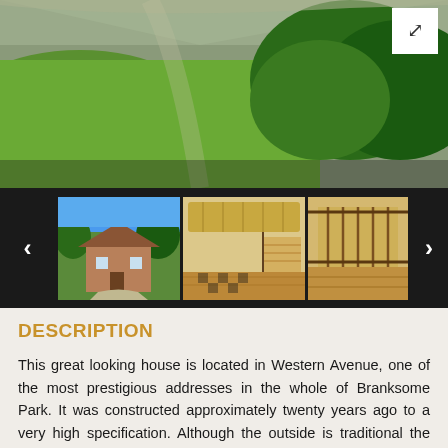[Figure (photo): Aerial/garden view of a property with green lawn, trees, and driveway visible from above. White expand button in top right corner.]
[Figure (photo): Thumbnail strip showing property photos: exterior of a brick house with trees, interior hallway with wooden floors and staircase, and partial view of another interior room. Navigation arrows on left and right.]
DESCRIPTION
This great looking house is located in Western Avenue, one of the most prestigious addresses in the whole of Branksome Park. It was constructed approximately twenty years ago to a very high specification. Although the outside is traditional the interior benefits from a highly unusual layout - especially downstairs - with versatile reception space and imaginative use